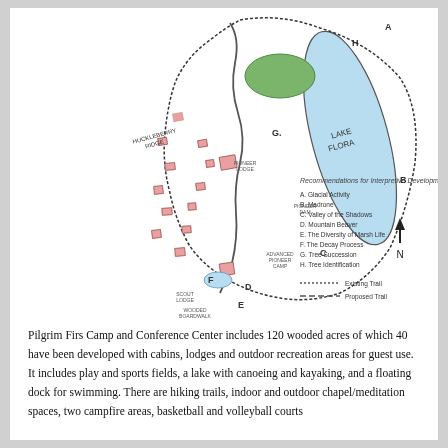[Figure (map): Hand-drawn map of Pilgrim Firs Camp showing Lake Flora, wooded areas, cabins (pink rectangles), trails, and labeled interpretive development sites A through H. Includes north arrow and legend for existing and proposed trails.]
Pilgrim Firs Camp and Conference Center includes 120 wooded acres of which 40 have been developed with cabins, lodges and outdoor recreation areas for guest use. It includes play and sports fields, a lake with canoeing and kayaking, and a floating dock for swimming. There are hiking trails, indoor and outdoor chapel/meditation spaces, two campfire areas, basketball and volleyball courts